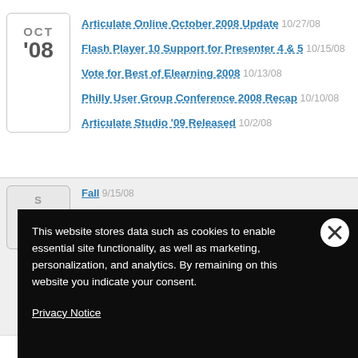OCT '08
Articulate Online October 2008 Update 10/27/08
Flash Player 10 Support for Presenter 4 & 5 10/15/08
Vote for Best of Elearning 2008 10/13/08
Philly User Group Conference 2008 Recap 10/10/08
Articulate Studio '09 Released 10/2/08
[Figure (screenshot): Cookie consent overlay popup with text: This website stores data such as cookies to enable essential site functionality, as well as marketing, personalization, and analytics. By remaining on this website you indicate your consent. Privacy Notice. Close button (X) in top right corner.]
This website stores data such as cookies to enable essential site functionality, as well as marketing, personalization, and analytics. By remaining on this website you indicate your consent.
Privacy Notice
Fall 9/15/08
g Up 8/28/08
tor's Case Study 8/
Proposals 8/14/08
Jump Start Your Articulate Expertise at Philadelphia User Conf